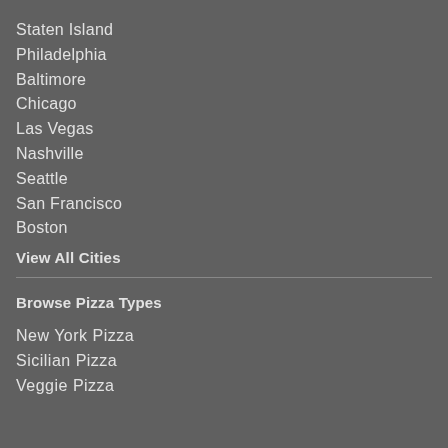Staten Island
Philadelphia
Baltimore
Chicago
Las Vegas
Nashville
Seattle
San Francisco
Boston
View All Cities
Browse Pizza Types
New York Pizza
Sicilian Pizza
Veggie Pizza